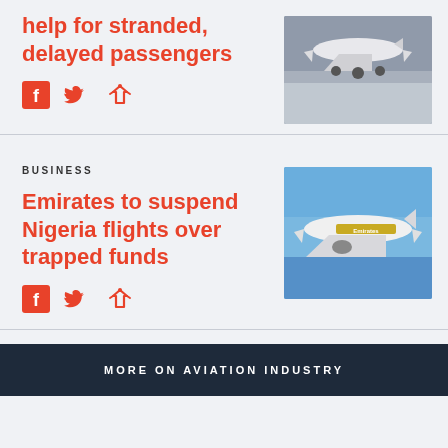help for stranded, delayed passengers
[Figure (photo): Airplane on airport tarmac]
[Figure (other): Social share icons: Facebook, Twitter, Share]
BUSINESS
Emirates to suspend Nigeria flights over trapped funds
[Figure (photo): Emirates aircraft in flight]
[Figure (other): Social share icons: Facebook, Twitter, Share]
MORE ON AVIATION INDUSTRY